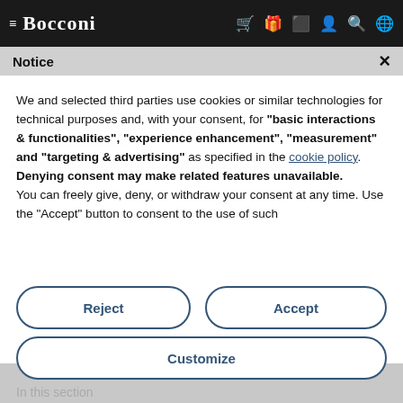≡ Bocconi
Notice ×
We and selected third parties use cookies or similar technologies for technical purposes and, with your consent, for "basic interactions & functionalities", "experience enhancement", "measurement" and "targeting & advertising" as specified in the cookie policy. Denying consent may make related features unavailable. You can freely give, deny, or withdraw your consent at any time. Use the "Accept" button to consent to the use of such
Reject
Accept
Customize
In this section